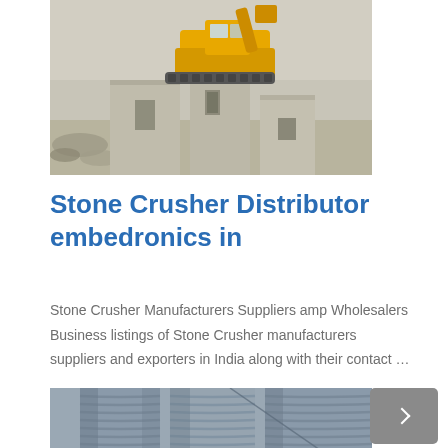[Figure (photo): A yellow excavator or heavy construction machine operating on top of large grey concrete blocks or stone structures in a quarry or construction site setting.]
Stone Crusher Distributor embedronics in
Stone Crusher Manufacturers Suppliers amp Wholesalers Business listings of Stone Crusher manufacturers suppliers and exporters in India along with their contact …
[Figure (photo): Industrial cylindrical metal silos or storage tanks with spiral ribbing, photographed from below looking up, in grey/blue tones.]